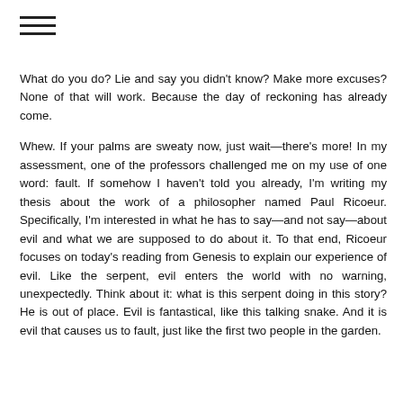≡
What do you do? Lie and say you didn't know? Make more excuses? None of that will work. Because the day of reckoning has already come.
Whew. If your palms are sweaty now, just wait—there's more! In my assessment, one of the professors challenged me on my use of one word: fault. If somehow I haven't told you already, I'm writing my thesis about the work of a philosopher named Paul Ricoeur. Specifically, I'm interested in what he has to say—and not say—about evil and what we are supposed to do about it. To that end, Ricoeur focuses on today's reading from Genesis to explain our experience of evil. Like the serpent, evil enters the world with no warning, unexpectedly. Think about it: what is this serpent doing in this story? He is out of place. Evil is fantastical, like this talking snake. And it is evil that causes us to fault, just like the first two people in the garden.